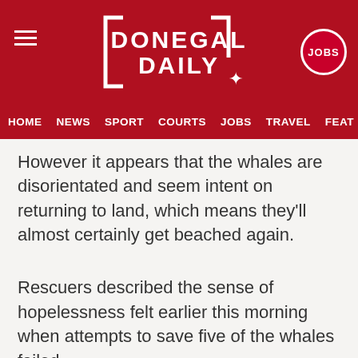DONEGAL DAILY
HOME  NEWS  SPORT  COURTS  JOBS  TRAVEL  FEAT…
However it appears that the whales are disorientated and seem intent on returning to land, which means they'll almost certainly get beached again.
Rescuers described the sense of hopelessness felt earlier this morning when attempts to save five of the whales failed.
As seen in the video above, rescuers are helpless as the whales lie on the strand slowly dying gasping for a return to